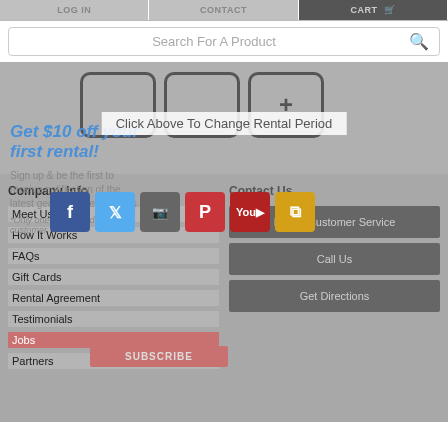LOG IN | CONTACT | CART
Search For A Product
[Figure (screenshot): Rental period selector with icon boxes and plus button, overlaid with 'Click Above To Change Rental Period' banner]
[Figure (infographic): Social media icons: Facebook, Twitter, Instagram, Pinterest, YouTube, RSS]
Get $10 off your first rental!
Sign up & be the first to receive notification of the latest gear and special deals.
*Only one promo code per customer
Company Info
Meet Us
How It Works
FAQs
Gift Cards
Rental Agreement
Testimonials
Jobs
Partners
Contact Us
E-Mail Customer Service
Call Us
Get Directions
EMAIL
SUBSCRIBE